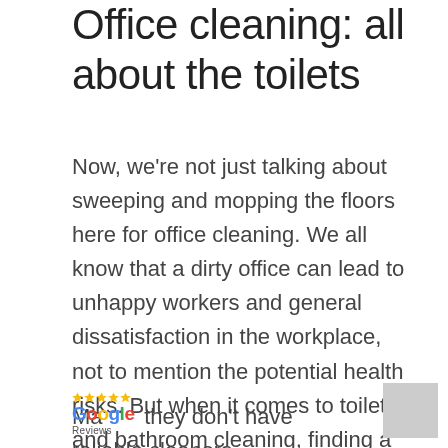Office cleaning: all about the toilets
Now, we're not just talking about sweeping and mopping the floors here for office cleaning. We all know that a dirty office can lead to unhappy workers and general dissatisfaction in the workplace, not to mention the potential health risks. But when it comes to toilet and bathroom cleaning, finding a good cleaning company is challenging.
Maybe they don't have reliable cleaners,